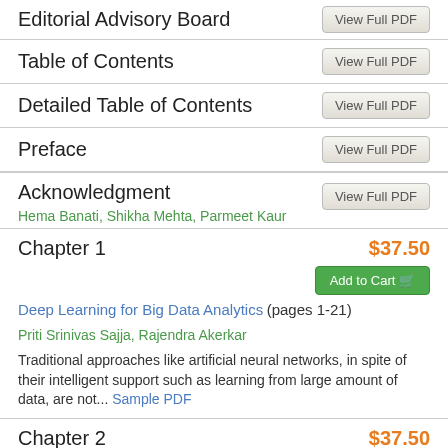Editorial Advisory Board — View Full PDF
Table of Contents — View Full PDF
Detailed Table of Contents — View Full PDF
Preface — View Full PDF
Acknowledgment — View Full PDF
Hema Banati, Shikha Mehta, Parmeet Kaur
Chapter 1
$37.50
Deep Learning for Big Data Analytics (pages 1-21)
Priti Srinivas Sajja, Rajendra Akerkar
Traditional approaches like artificial neural networks, in spite of their intelligent support such as learning from large amount of data, are not... Sample PDF
Chapter 2
$37.50
Genetic Algorithm Based Pre-Processing